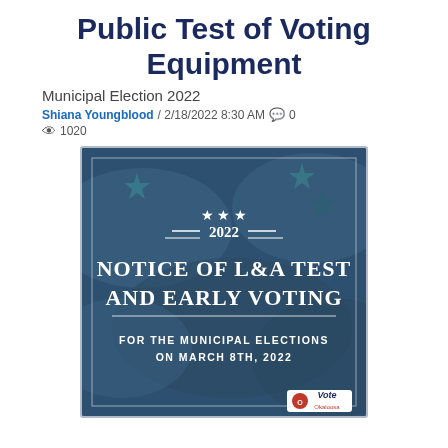Public Test of Voting Equipment
Municipal Election 2022
Shiana Youngblood / 2/18/2022 8:30 AM  0  1020
[Figure (infographic): Notice of L&A Test and Early Voting for the Municipal Elections on March 8th, 2022. Dark blue background with American flag motif, stars, decorative lines, and Okaloosa Vote logo in bottom right.]